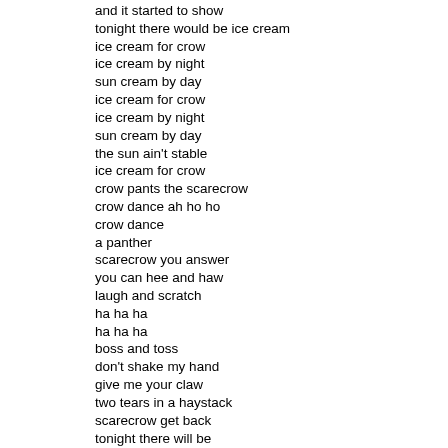and it started to show
tonight there would be ice cream
ice cream for crow
ice cream by night
sun cream by day
ice cream for crow
ice cream by night
sun cream by day
the sun ain't stable
ice cream for crow
crow pants the scarecrow
crow dance ah ho ho
crow dance
a panther
scarecrow you answer
you can hee and haw
laugh and scratch
ha ha ha
ha ha ha
boss and toss
don't shake my hand
give me your claw
two tears in a haystack
scarecrow get back
tonight there will be
a feather treatment
beneath the symbol
we'll all assemble
oh how we'll fly
oh how we'll tremble